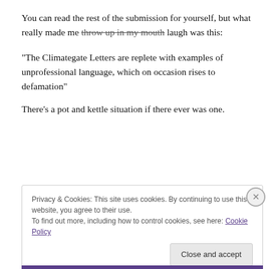You can read the rest of the submission for yourself, but what really made me throw up in my mouth laugh was this:
“The Climategate Letters are replete with examples of unprofessional language, which on occasion rises to defamation”
There’s a pot and kettle situation if there ever was one.
Privacy & Cookies: This site uses cookies. By continuing to use this website, you agree to their use. To find out more, including how to control cookies, see here: Cookie Policy